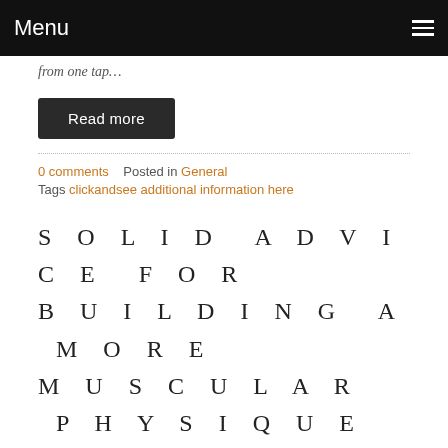Menu
from one tap…
Read more
0 comments   Posted in General
Tags clickandsee additional information here
SOLID ADVICE FOR BUILDING A MORE MUSCULAR PHYSIQUE
April 16, 2020
You may have been placing off constructing your muscles because you have heard that it takes lots of time and dedication. However, the reality is that muscle constructing is dependent on how a lot you know about effective ways to do it. Read on for